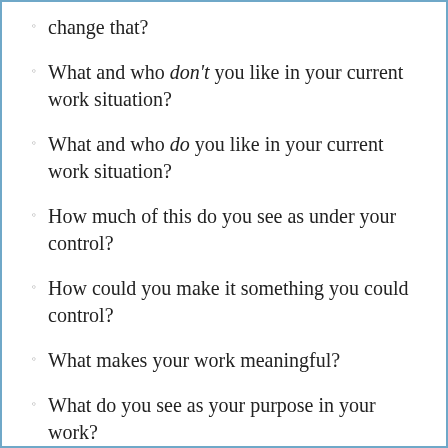change that?
What and who don't you like in your current work situation?
What and who do you like in your current work situation?
How much of this do you see as under your control?
How could you make it something you could control?
What makes your work meaningful?
What do you see as your purpose in your work?